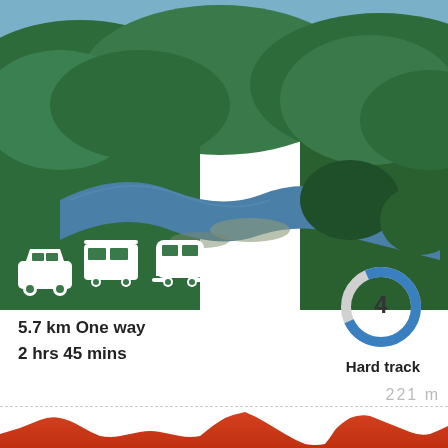[Figure (photo): Aerial view of a winding blue river through dense green forest and hills, with a person sitting on a rocky ledge in the foreground viewing the landscape. White transport icons (car, bus, train) overlaid on the lower left of the photo.]
5.7 km One way
2 hrs 45 mins
[Figure (donut-chart): Donut chart showing difficulty rating 4, blue arc on grey background, labeled 'Hard track' below]
221 m
[Figure (area-chart): Elevation profile chart showing red/orange filled area representing terrain elevation over distance, with a dashed line at 221m elevation mark]